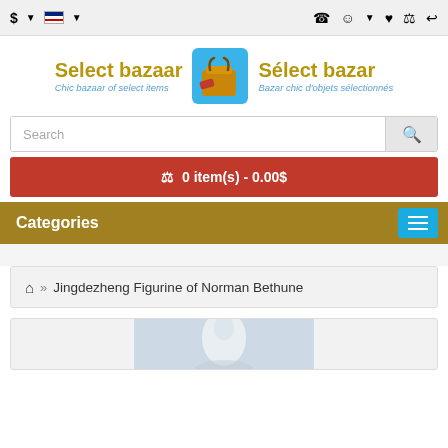$ ▼  [flag] ▼   📞  👤 ▼  ♥  🛒  ↩
[Figure (logo): Select bazaar logo with shopping bag icon. Left side: 'Select bazaar' in gold bold, 'Chic bazaar of select items' in blue italic. Center: shopping bag icon. Right side: 'Sélect bazar' in gold bold, 'Bazar chic d'objets sélectionnés' in blue italic.]
Search
🛒 0 item(s) - 0.00$
Categories
🏠 » Jingdezheng Figurine of Norman Bethune
[Figure (photo): Partial view of a white ceramic figurine of Norman Bethune against a light blue-grey background]